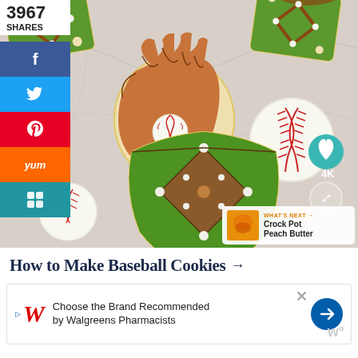[Figure (photo): Overhead photo of baseball-themed decorated sugar cookies on marble surface: baseball field/diamond cookies with green frosting and brown diamond, baseball glove cookie, round baseball cookie, bat cookie, scattered on marble. Social media share sidebar on left. Heart and share buttons overlay on right. 'What's Next: Crock Pot Peach Butter' overlay bottom right.]
3967
SHARES
How to Make Baseball Cookies →
[Figure (infographic): Advertisement banner: Walgreens logo with triangle play icon, text 'Choose the Brand Recommended by Walgreens Pharmacists', blue directional arrow circle button, X close button, watermark icon bottom right.]